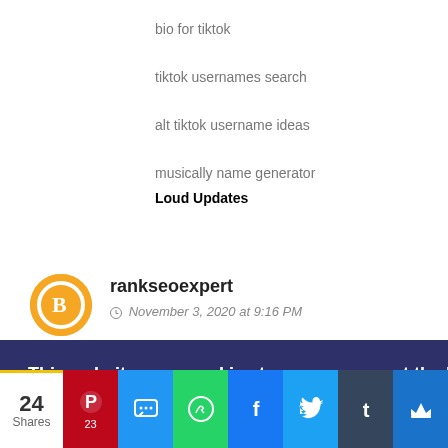bio for tiktok
tiktok usernames search
alt tiktok username ideas
musically name generator
Loud Updates
Reply
rankseoexpert
November 3, 2020 at 9:16 PM
This website uses cookies to ensure you get the best experience on our website. Learn more
24 Shares